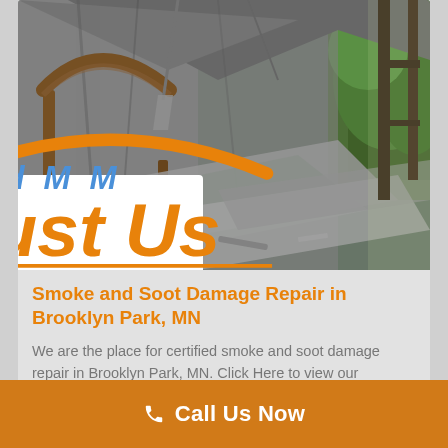[Figure (photo): Interior of a fire-damaged room showing charred walls, collapsed ceiling, debris, fallen metal sheets, a wooden headboard, and a broken window with outdoor greenery visible]
[Figure (logo): Just Us Construction & Restoration, Inc. logo with stylized text in blue and orange on white background]
Smoke and Soot Damage Repair in Brooklyn Park, MN
We are the place for certified smoke and soot damage repair in Brooklyn Park, MN. Click Here to view our Brooklyn Park, MN smoke and soot damage r...
Call Us Now